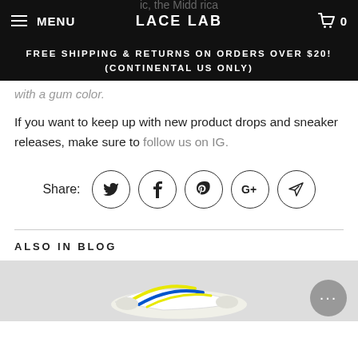MENU | LACE LAB | 0
FREE SHIPPING & RETURNS ON ORDERS OVER $20! (CONTINENTAL US ONLY)
with a gum color.
If you want to keep up with new product drops and sneaker releases, make sure to follow us on IG.
Share:
ALSO IN BLOG
[Figure (photo): Sneaker product photo – white shoe with yellow and blue laces]